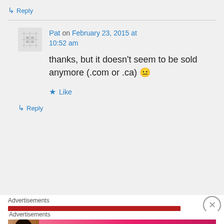↳ Reply
Pat on February 23, 2015 at 10:52 am
thanks, but it doesn't seem to be sold anymore (.com or .ca) 😐
★ Like
↳ Reply
Advertisements
Advertisements
[Figure (photo): Victoria's Secret advertisement banner with model and 'SHOP THE COLLECTION SHOP NOW' text]